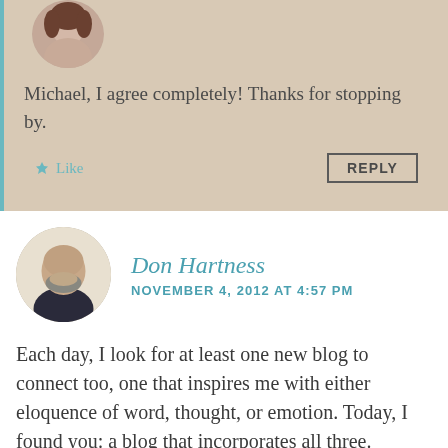[Figure (photo): Circular avatar photo of a woman, partially visible at top of page]
Michael, I agree completely! Thanks for stopping by.
Like
REPLY
[Figure (photo): Circular avatar photo of Don Hartness, a bald man with beard wearing dark clothing]
Don Hartness
NOVEMBER 4, 2012 AT 4:57 PM
Each day, I look for at least one new blog to connect too, one that inspires me with either eloquence of word, thought, or emotion. Today, I found you: a blog that incorporates all three.
These are the words I needed today Anna. Thank you so much for the rush of wind beneath my wings!